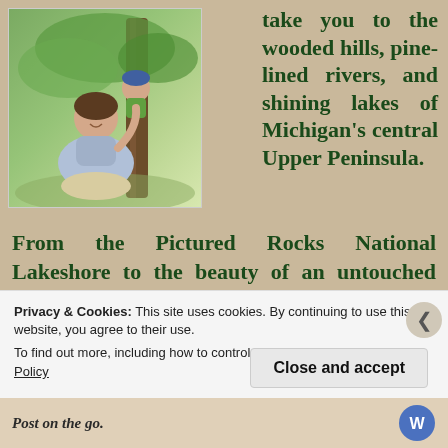[Figure (photo): A woman sitting outdoors by a tree with a young child wearing a blue hat, surrounded by green foliage]
take you to the wooded hills, pine-lined rivers, and shining lakes of Michigan's central Upper Peninsula.
From the Pictured Rocks National Lakeshore to the beauty of an untouched woodland waterfall to a walk among the spring wildflowers, our goal
Privacy & Cookies: This site uses cookies. By continuing to use this website, you agree to their use.
To find out more, including how to control cookies, see here: Cookie Policy
Close and accept
Post on the go.